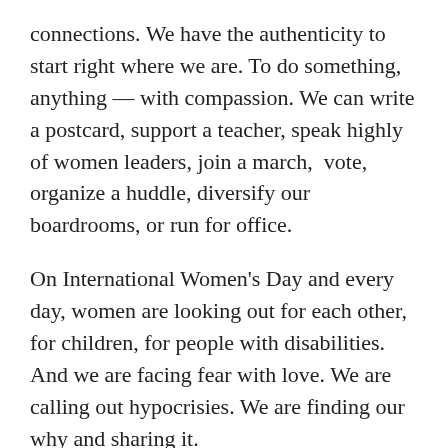connections. We have the authenticity to start right where we are. To do something, anything — with compassion. We can write a postcard, support a teacher, speak highly of women leaders, join a march,  vote, organize a huddle, diversify our boardrooms, or run for office.
On International Women's Day and every day, women are looking out for each other, for children, for people with disabilities. And we are facing fear with love. We are calling out hypocrisies. We are finding our why and sharing it.
These are some of the reasons why I'm proud to wear red today and I'm proud to be a woman every day. I celebrate international womanhood and sisterhood!